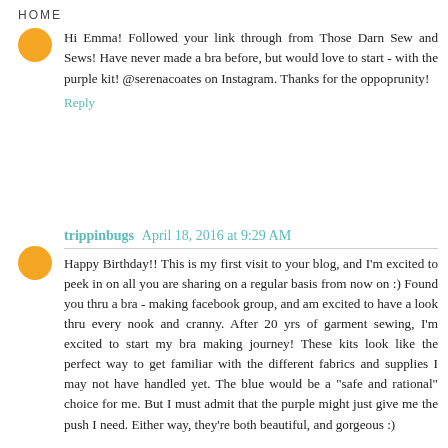HOME
Hi Emma! Followed your link through from Those Darn Sew and Sews! Have never made a bra before, but would love to start - with the purple kit! @serenacoates on Instagram. Thanks for the oppорrunity!
Reply
trippinbugs April 18, 2016 at 9:29 AM
Happy Birthday!! This is my first visit to your blog, and I'm excited to peek in on all you are sharing on a regular basis from now on :) Found you thru a bra - making facebook group, and am excited to have a look thru every nook and cranny. After 20 yrs of garment sewing, I'm excited to start my bra making journey! These kits look like the perfect way to get familiar with the different fabrics and supplies I may not have handled yet. The blue would be a "safe and rational" choice for me. But I must admit that the purple might just give me the push I need. Either way, they're both beautiful, and gorgeous :)